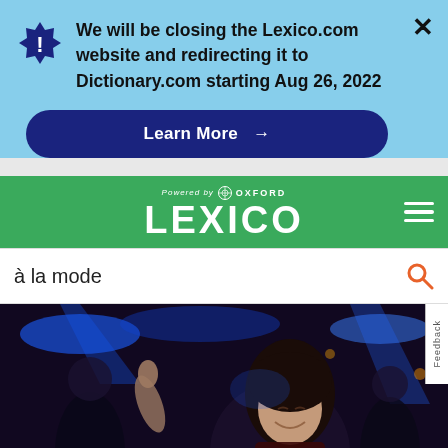We will be closing the Lexico.com website and redirecting it to Dictionary.com starting Aug 26, 2022
Learn More →
[Figure (logo): Lexico powered by Oxford logo on green navigation bar]
à la mode
[Figure (photo): Photo of people dancing at a nightclub with blue stage lights]